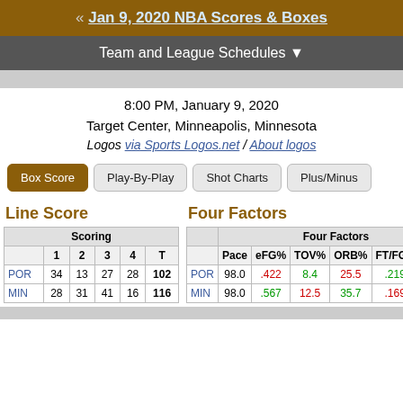« Jan 9, 2020 NBA Scores & Boxes
Team and League Schedules ▼
8:00 PM, January 9, 2020
Target Center, Minneapolis, Minnesota
Logos via Sports Logos.net / About logos
Box Score
Play-By-Play
Shot Charts
Plus/Minus
Line Score
|  | 1 | 2 | 3 | 4 | T |
| --- | --- | --- | --- | --- | --- |
| POR | 34 | 13 | 27 | 28 | 102 |
| MIN | 28 | 31 | 41 | 16 | 116 |
Four Factors
|  | Pace | eFG% | TOV% | ORB% | FT/FGA | ORtg |
| --- | --- | --- | --- | --- | --- | --- |
| POR | 98.0 | .422 | 8.4 | 25.5 | .219 | 104.1 |
| MIN | 98.0 | .567 | 12.5 | 35.7 | .169 | 118.4 |